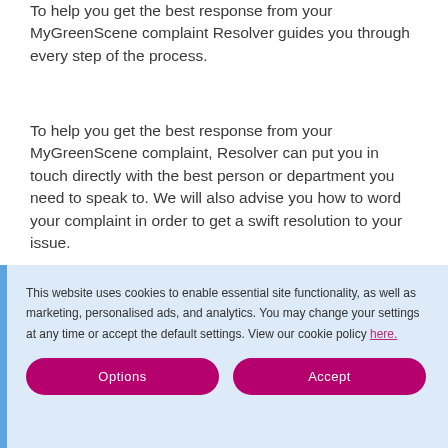To help you get the best response from your MyGreenScene complaint Resolver guides you through every step of the process.
To help you get the best response from your MyGreenScene complaint, Resolver can put you in touch directly with the best person or department you need to speak to. We will also advise you how to word your complaint in order to get a swift resolution to your issue.
In addition, Resolver will help you record all calls and correspondence you make via our app and website
This website uses cookies to enable essential site functionality, as well as marketing, personalised ads, and analytics. You may change your settings at any time or accept the default settings. View our cookie policy here.